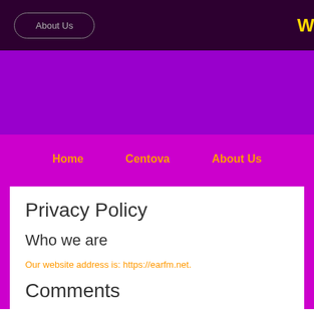About Us
Privacy Policy
Who we are
Our website address is: https://earfm.net.
Comments